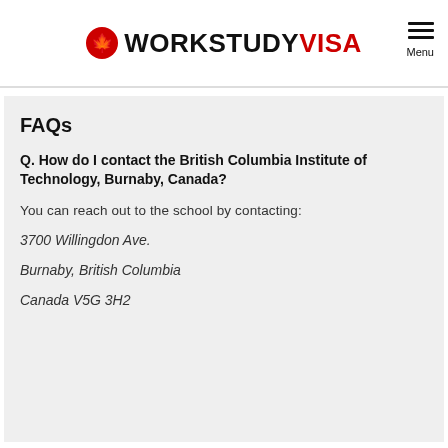WORKSTUDY VISA
FAQs
Q. How do I contact the British Columbia Institute of Technology, Burnaby, Canada?
You can reach out to the school by contacting:
3700 Willingdon Ave.
Burnaby, British Columbia
Canada V5G 3H2